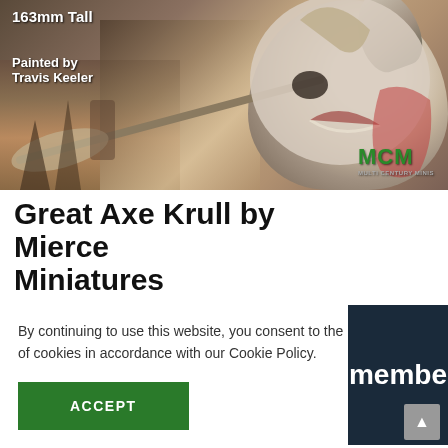[Figure (photo): Painted miniature figure - Great Axe Krull by Mierce Miniatures, 163mm tall, painted by Travis Keeler. Shows a large skull-headed monster with horns, holding an axe/weapon. MCM logo visible bottom right.]
Great Axe Krull by Mierce Miniatures
By continuing to use this website, you consent to the use of cookies in accordance with our Cookie Policy.
ACCEPT
[Figure (screenshot): Partial dark blue banner with white text showing 'membe' (truncated)]